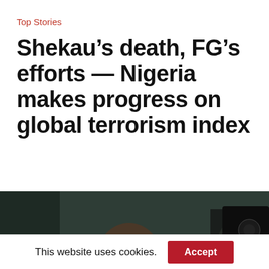Top Stories
Shekau’s death, FG’s efforts — Nigeria makes progress on global terrorism index
[Figure (photo): A person wearing a dark headband or hat, photographed from below in a dark/green background environment, likely a still from a video. A second figure partially visible on the right side.]
This website uses cookies. Accept